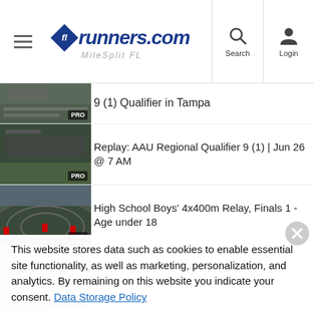flrunners.com MileSplit FL — Search | Login
9 (1) Qualifier in Tampa
[Figure (screenshot): Partial thumbnail of track and field bleachers with PRO badge]
[Figure (screenshot): Video thumbnail showing scoreboard at track meet with PRO badge]
Replay: AAU Regional Qualifier 9 (1) | Jun 26 @ 7 AM
[Figure (screenshot): Video thumbnail showing aerial view of track with runners, PRO badge]
High School Boys' 4x400m Relay, Finals 1 - Age under 18
[Figure (screenshot): Faded video thumbnail of track with runners, PRO badge]
High School Girls' 4x400m Relay, Finals 1 - Age under 18
This website stores data such as cookies to enable essential site functionality, as well as marketing, personalization, and analytics. By remaining on this website you indicate your consent. Data Storage Policy